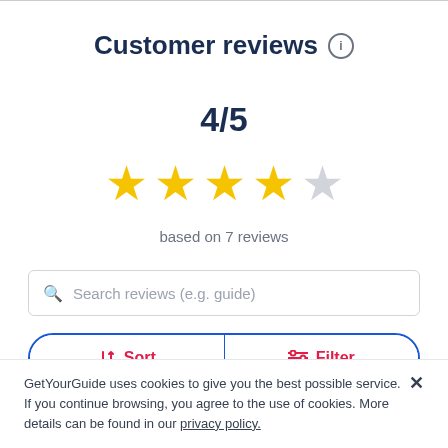Customer reviews ℹ
4/5
[Figure (other): 4 out of 5 stars rating display — 4 filled yellow stars and 1 empty grey star]
based on 7 reviews
Search reviews (e.g. guide)
↓↑ Sort  ≡ Filter
GetYourGuide uses cookies to give you the best possible service. If you continue browsing, you agree to the use of cookies. More details can be found in our privacy policy.